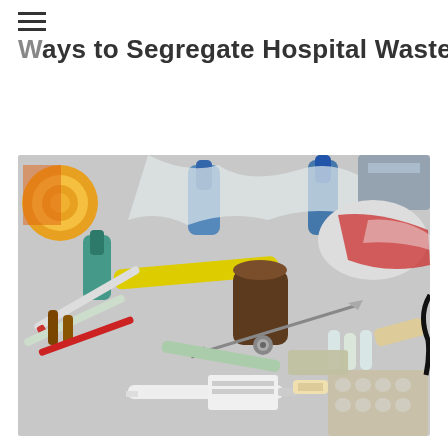Ways to Segregate Hospital Waste
[Figure (photo): A pile of mixed hospital/medical waste items including syringes, inhalers, tubes, a scalpel/knife, bandages, blood-stained materials, pill blister packs, vials, and various other medical supply packaging scattered on a light gray surface.]